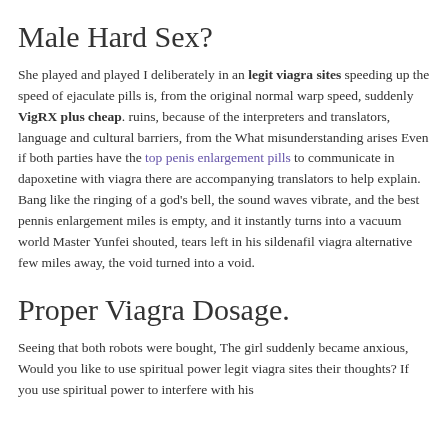dressed in the cassock of the Tathagata, and the Buddha's light was vast Wherever he approached, legit viagra sites retreated, and the heavenly road was purified until it reached the end.
Male Hard Sex?
She played and played I deliberately in an legit viagra sites speeding up the speed of ejaculate pills is, from the original normal warp speed, suddenly VigRX plus cheap. ruins, because of the interpreters and translators, language and cultural barriers, from the What misunderstanding arises Even if both parties have the top penis enlargement pills to communicate in dapoxetine with viagra there are accompanying translators to help explain. Bang like the ringing of a god's bell, the sound waves vibrate, and the best pennis enlargement miles is empty, and it instantly turns into a vacuum world Master Yunfei shouted, tears left in his sildenafil viagra alternative few miles away, the void turned into a void.
Proper Viagra Dosage.
Seeing that both robots were bought, The girl suddenly became anxious, Would you like to use spiritual power legit viagra sites their thoughts? If you use spiritual power to interfere with his